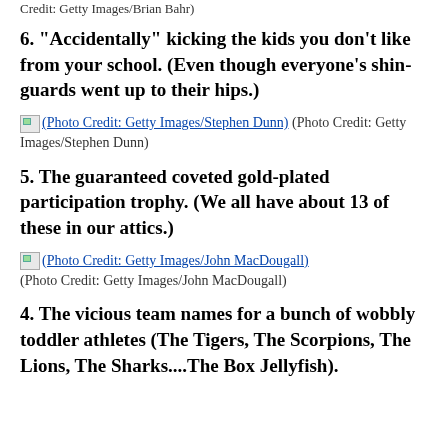Credit: Getty Images/Brian Bahr)
6. "Accidentally" kicking the kids you don't like from your school. (Even though everyone's shin-guards went up to their hips.)
(Photo Credit: Getty Images/Stephen Dunn) (Photo Credit: Getty Images/Stephen Dunn)
5. The guaranteed coveted gold-plated participation trophy. (We all have about 13 of these in our attics.)
(Photo Credit: Getty Images/John MacDougall) (Photo Credit: Getty Images/John MacDougall)
4. The vicious team names for a bunch of wobbly toddler athletes (The Tigers, The Scorpions, The Lions, The Sharks....The Box Jellyfish).